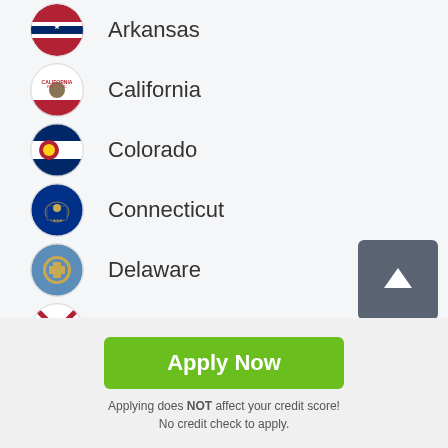Arkansas
California
Colorado
Connecticut
Delaware
Florida
[Figure (other): Scroll-to-top button with upward arrow icon]
Apply Now
Applying does NOT affect your credit score! No credit check to apply.